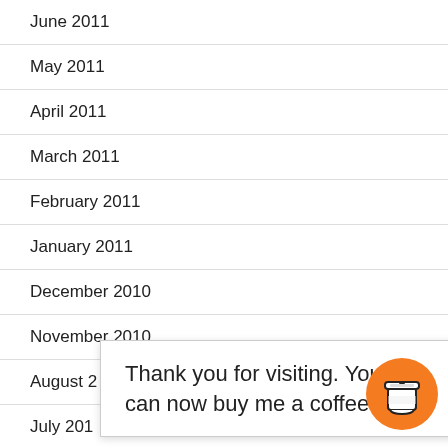June 2011
May 2011
April 2011
March 2011
February 2011
January 2011
December 2010
November 2010
August 2
July 201
June 201
Thank you for visiting. You can now buy me a coffee!